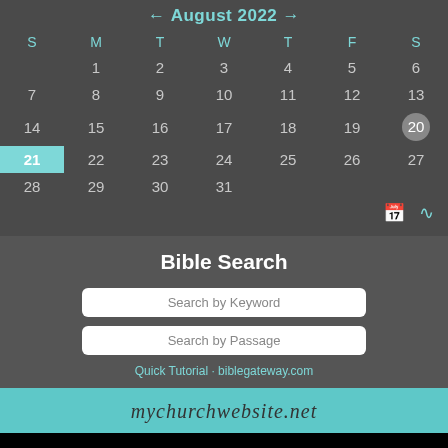← August 2022 →
| S | M | T | W | T | F | S |
| --- | --- | --- | --- | --- | --- | --- |
|  | 1 | 2 | 3 | 4 | 5 | 6 |
| 7 | 8 | 9 | 10 | 11 | 12 | 13 |
| 14 | 15 | 16 | 17 | 18 | 19 | 20 |
| 21 | 22 | 23 | 24 | 25 | 26 | 27 |
| 28 | 29 | 30 | 31 |  |  |  |
Bible Search
Search by Keyword
Search by Passage
Quick Tutorial · biblegateway.com
mychurchwebsite.net
site administration